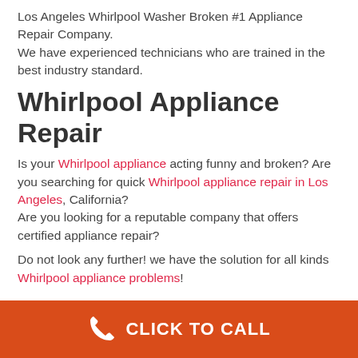Los Angeles Whirlpool Washer Broken #1 Appliance Repair Company.
We have experienced technicians who are trained in the best industry standard.
Whirlpool Appliance Repair
Is your Whirlpool appliance acting funny and broken? Are you searching for quick Whirlpool appliance repair in Los Angeles, California?
Are you looking for a reputable company that offers certified appliance repair?
Do not look any further! we have the solution for all kinds Whirlpool appliance problems!
CLICK TO CALL